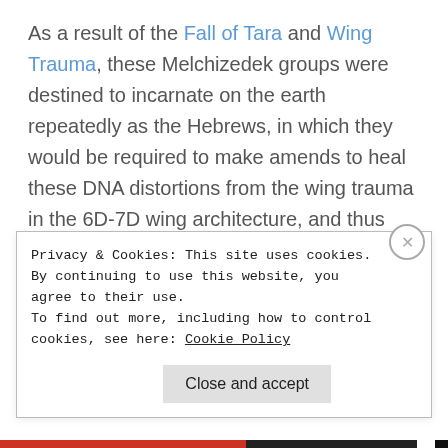As a result of the Fall of Tara and Wing Trauma, these Melchizedek groups were destined to incarnate on the earth repeatedly as the Hebrews, in which they would be required to make amends to heal these DNA distortions from the wing trauma in the 6D-7D wing architecture, and thus learn their spiritual lessons about abuses of power through the evolution cycles on the earth. This original timeline for wing trauma is very heightened during this time...
Privacy & Cookies: This site uses cookies. By continuing to use this website, you agree to their use.
To find out more, including how to control cookies, see here: Cookie Policy